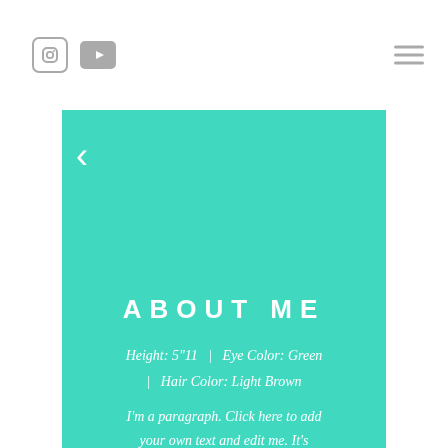[Instagram icon] [YouTube icon] [Hamburger menu]
[Figure (other): Back arrow navigation chevron on teal background]
ABOUT ME
Height: 5"11   |   Eye Color: Green   |   Hair Color: Light Brown
I'm a paragraph. Click here to add your own text and edit me. It's easy. Just click "Edit Text" or